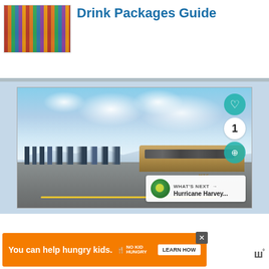[Figure (photo): Thumbnail photo of colorful liquor bottles on a bar shelf]
Drink Packages Guide
[Figure (photo): Tour group of people standing on a road next to a large MTC coach bus, with snowy mountains and dramatic cloudy sky in background]
[Figure (other): What's Next overlay widget showing Hurricane Harvey...]
[Figure (other): Advertisement banner: You can help hungry kids. No Kid Hungry. LEARN HOW. With close button.]